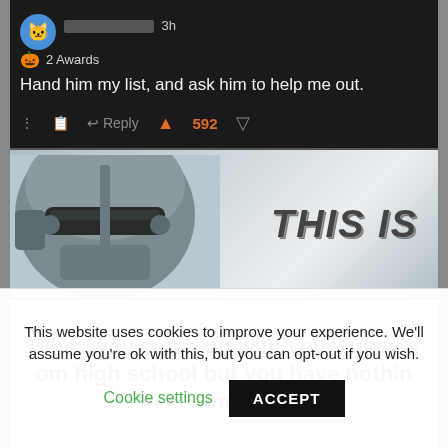[Figure (screenshot): Reddit comment screenshot on dark background showing a user with 2 Awards saying 'Hand him my list, and ask him to help me out.' with 592 upvotes and Reply button]
[Figure (photo): The Mandalorian helmet from the side in grey tones with bold italic text 'THIS IS' on the right]
When you catch up with your homies from high school but you have nothing in common now
This website uses cookies to improve your experience. We'll assume you're ok with this, but you can opt-out if you wish.
Cookie settings
ACCEPT